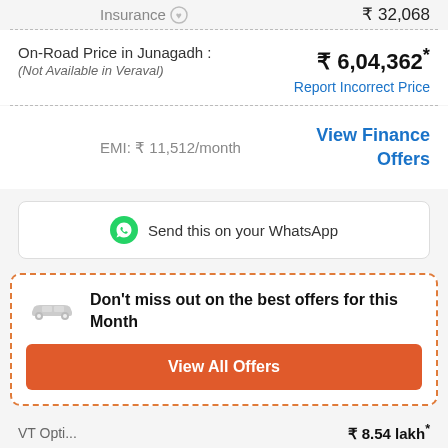Insurance  ₹ 32,068
On-Road Price in Junagadh : ₹ 6,04,362*
(Not Available in Veraval)
Report Incorrect Price
EMI: ₹ 11,512/month
View Finance Offers
Send this on your WhatsApp
Don't miss out on the best offers for this Month
View All Offers
VT Opti...
₹ 8.54 lakh*